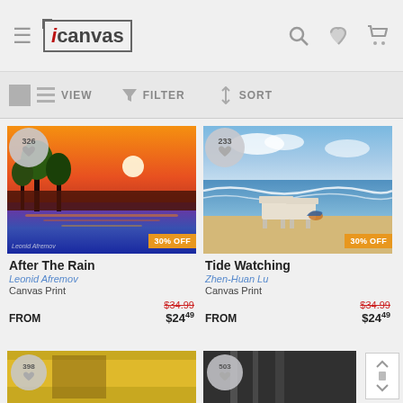[Figure (screenshot): iCanvas e-commerce website header with hamburger menu, iCanvas logo, search, heart, and cart icons]
[Figure (screenshot): Toolbar with VIEW, FILTER, SORT controls]
[Figure (photo): Colorful painting of palm trees at sunset reflected in water — After The Rain by Leonid Afremov, with 326 likes badge and 30% OFF badge]
After The Rain
Leonid Afremov
Canvas Print
FROM  $34.99  $24.49
[Figure (photo): Photo of two white Adirondack chairs on a sandy beach — Tide Watching by Zhen-Huan Lu, with 233 likes badge and 30% OFF badge]
Tide Watching
Zhen-Huan Lu
Canvas Print
FROM  $34.99  $24.49
[Figure (photo): Partial view of a third artwork with 398 likes badge]
[Figure (photo): Partial view of a fourth artwork with 503 likes badge]